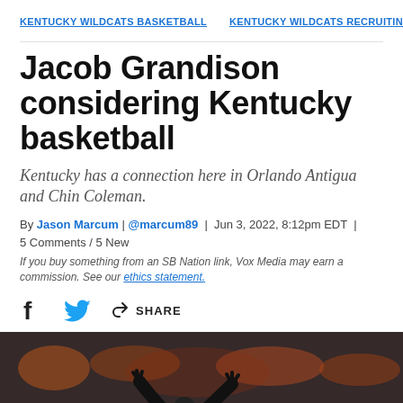KENTUCKY WILDCATS BASKETBALL  KENTUCKY WILDCATS RECRUITING
Jacob Grandison considering Kentucky basketball
Kentucky has a connection here in Orlando Antigua and Chin Coleman.
By Jason Marcum | @marcum89 | Jun 3, 2022, 8:12pm EDT | 5 Comments / 5 New
If you buy something from an SB Nation link, Vox Media may earn a commission. See our ethics statement.
[Figure (photo): Basketball player raising hands with crowd in background]